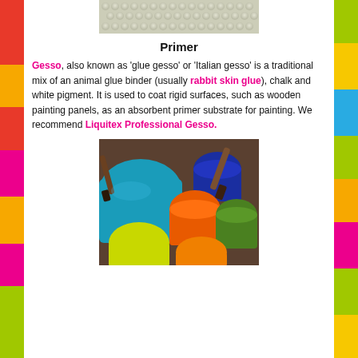[Figure (photo): Close-up of gesso-textured white surface with a bumpy, granular pattern]
Primer
Gesso, also known as 'glue gesso' or 'Italian gesso' is a traditional mix of an animal glue binder (usually rabbit skin glue), chalk and white pigment. It is used to coat rigid surfaces, such as wooden painting panels, as an absorbent primer substrate for painting. We recommend Liquitex Professional Gesso.
[Figure (photo): Overhead photo of multiple open paint cans in bright colors — blue, orange, green, yellow — with paint brushes, arranged on a surface]